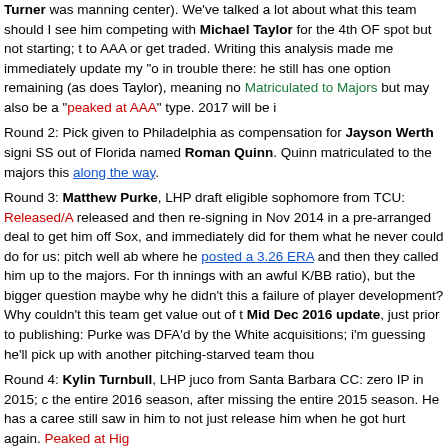Turner was manning center). We've talked a lot about what this team should I see him competing with Michael Taylor for the 4th OF spot but not starting; to AAA or get traded. Writing this analysis made me immediately update my "o in trouble there: he still has one option remaining (as does Taylor), meaning no Matriculated to Majors but may also be a "peaked at AAA" type. 2017 will be i
Round 2: Pick given to Philadelphia as compensation for Jayson Werth signi SS out of Florida named Roman Quinn. Quinn matriculated to the majors this along the way.
Round 3: Matthew Purke, LHP draft eligible sophomore from TCU: Released/A released and then re-signing in Nov 2014 in a pre-arranged deal to get him off Sox, and immediately did for them what he never could do for us: pitch well ab where he posted a 3.26 ERA and then they called him up to the majors. For t innings with an awful K/BB ratio), but the bigger question maybe why he didn't this a failure of player development? Why couldn't this team get value out of t Mid Dec 2016 update, just prior to publishing: Purke was DFA'd by the White acquisitions; i'm guessing he'll pick up with another pitching-starved team thou
Round 4: Kylin Turnbull, LHP juco from Santa Barbara CC: zero IP in 2015; the entire 2016 season, after missing the entire 2015 season. He has a caree still saw in him to not just release him when he got hurt again. Peaked at Hig
Round 5: Matt Skole, 3B Coll Jr. from Georgia Tech: Slashed .244/.337/.437 homers, 2 SB in 499 ABs. We definitely have some Skole fans in this space, a That slash line actually represents a regression from his 2015 partial season